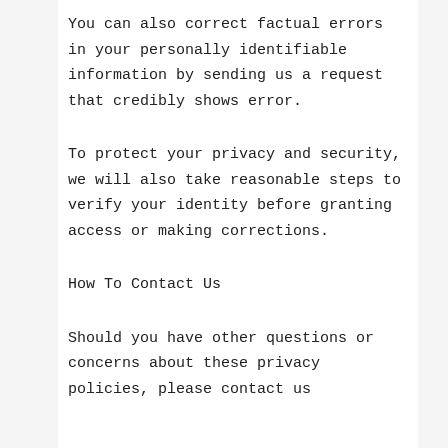You can also correct factual errors in your personally identifiable information by sending us a request that credibly shows error.
To protect your privacy and security, we will also take reasonable steps to verify your identity before granting access or making corrections.
How To Contact Us
Should you have other questions or concerns about these privacy policies, please contact us